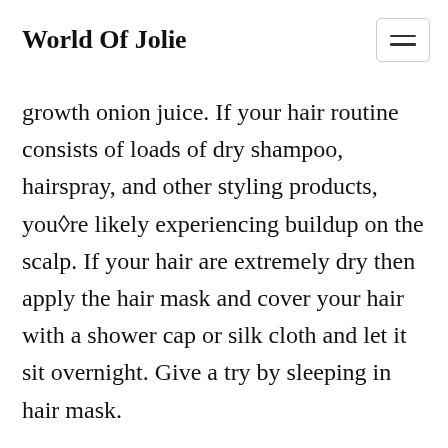World Of Jolie
growth onion juice. If your hair routine consists of loads of dry shampoo, hairspray, and other styling products, you�re likely experiencing buildup on the scalp. If your hair are extremely dry then apply the hair mask and cover your hair with a shower cap or silk cloth and let it sit overnight. Give a try by sleeping in hair mask.